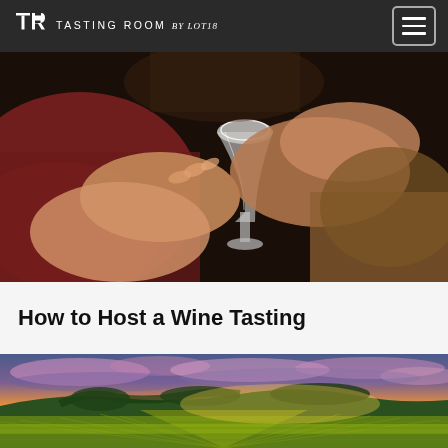TASTING ROOM by Lot18
[Figure (photo): Close-up photo of two people clinking wine glasses together in a warm indoor setting with dark background. One person wears red, the other a tan/brown top.]
How to Host a Wine Tasting
[Figure (photo): Wide panoramic photo of a vineyard at sunset. Rows of grapevines stretch into the distance across rolling hills. Dramatic sky with pink, purple and golden clouds above green and golden vineyard rows.]